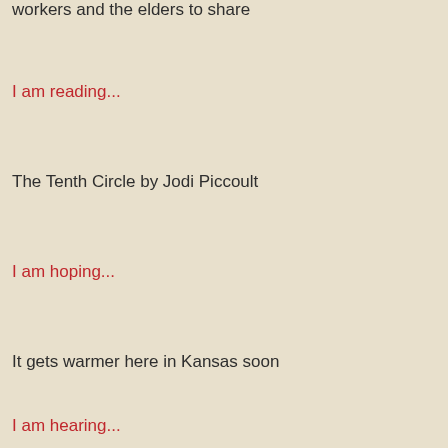workers and the elders to share
I am reading...
The Tenth Circle by Jodi Piccoult
I am hoping...
It gets warmer here in Kansas soon
I am hearing...